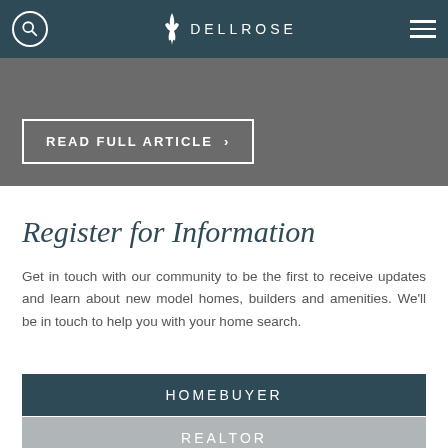DELLROSE
READ FULL ARTICLE >
Register for Information
Get in touch with our community to be the first to receive updates and learn about new model homes, builders and amenities. We'll be in touch to help you with your home search.
HOMEBUYER
REALTOR